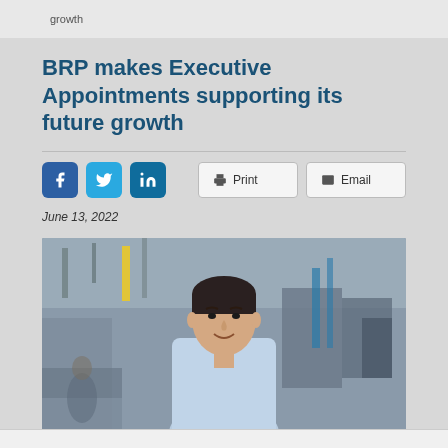growth
BRP makes Executive Appointments supporting its future growth
June 13, 2022
[Figure (photo): Professional headshot of a man in a light blue dress shirt standing in an industrial/manufacturing facility with machinery and equipment in the background]